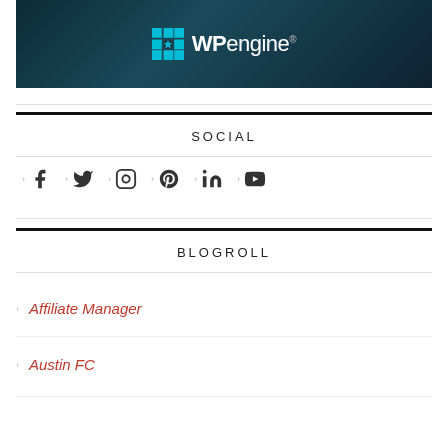[Figure (logo): WP Engine logo on dark blue/teal ocean-texture background with cyan grid icon and white text]
SOCIAL
[Figure (infographic): Row of social media icons: Facebook, Twitter, Instagram, Pinterest, LinkedIn, YouTube]
BLOGROLL
Affiliate Manager
Austin FC